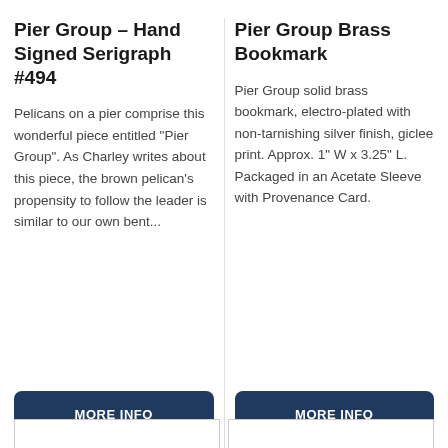Pier Group – Hand Signed Serigraph #494
Pelicans on a pier comprise this wonderful piece entitled "Pier Group".   As Charley writes about this piece, the brown pelican's propensity to follow the leader is similar to our own bent...
Pier Group Brass Bookmark
Pier Group solid brass bookmark, electro-plated with non-tarnishing silver finish, giclee print. Approx. 1" W x 3.25" L. Packaged in an Acetate Sleeve with Provenance Card.